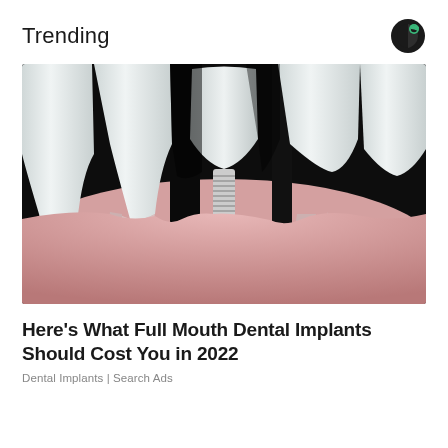Trending
[Figure (illustration): Medical illustration of a dental implant (titanium screw) positioned between natural teeth, showing cross-section of gums and tooth roots against a dark background. The teeth are white at the crown and pinkish at the gum/root area.]
Here's What Full Mouth Dental Implants Should Cost You in 2022
Dental Implants | Search Ads